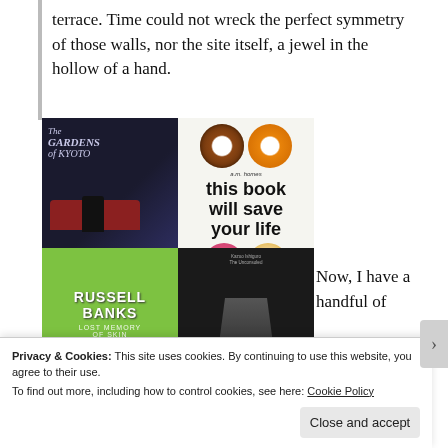terrace. Time could not wreck the perfect symmetry of those walls, nor the site itself, a jewel in the hollow of a hand.
[Figure (photo): Four book covers arranged in a 2x2 grid: top-left 'The Gardens of Kyoto', top-right 'a.m. homes this book will save your life' with donut imagery, bottom-left 'Russell Banks Lost Memory of Skin', bottom-right a dark cover with partial figure.]
Now, I have a handful of
Privacy & Cookies: This site uses cookies. By continuing to use this website, you agree to their use.
To find out more, including how to control cookies, see here: Cookie Policy